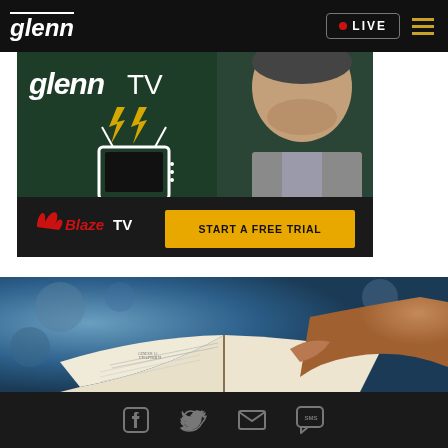glenn — LIVE (navigation bar)
[Figure (screenshot): Glenn TV promotional banner showing a man in a grey suit jacket, with Glenn TV logo, lightning bolts, TV icon, BlazeTV logo and 'START A FREE TRIAL' button]
[Figure (photo): Close-up photo of hands holding an open Bible, with blurred blue background]
Social icons: Facebook, Twitter, Email, SMS